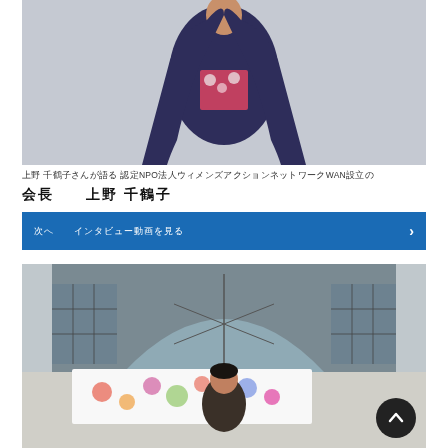[Figure (photo): A person wearing a dark navy blue coat/wrap over a floral patterned top, standing against a light grey background.]
上野 千鶴子さんが語る 認定NPO法人ウィメンズアクションネットワークWAN設立の
会長　上野 千鶴子
次へ　インタビュー動画を見る
[Figure (photo): A man standing outdoors in front of a large glass-roofed building, holding or standing near a colorful floral artwork/banner.]